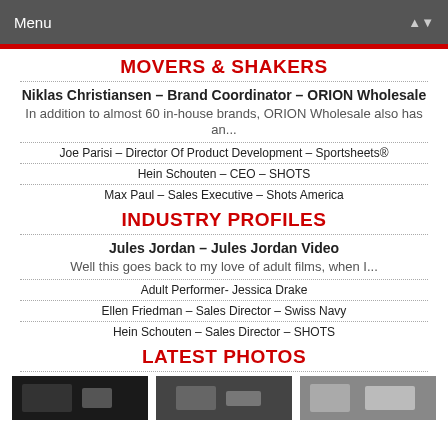Menu
MOVERS & SHAKERS
Niklas Christiansen – Brand Coordinator – ORION Wholesale
In addition to almost 60 in-house brands, ORION Wholesale also has an...
Joe Parisi – Director Of Product Development – Sportsheets®
Hein Schouten – CEO – SHOTS
Max Paul – Sales Executive – Shots America
INDUSTRY PROFILES
Jules Jordan – Jules Jordan Video
Well this goes back to my love of adult films, when I...
Adult Performer- Jessica Drake
Ellen Friedman – Sales Director – Swiss Navy
Hein Schouten – Sales Director – SHOTS
LATEST PHOTOS
[Figure (photo): Three thumbnail photos in a row]